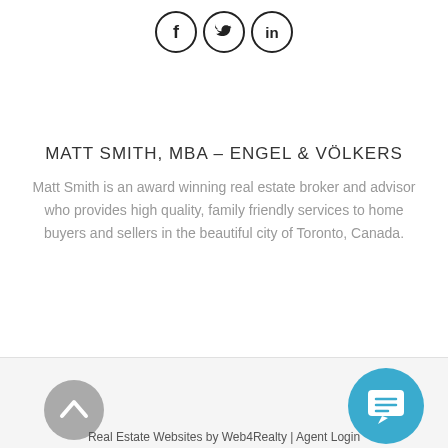[Figure (other): Social media icons: Facebook, Twitter, LinkedIn in circular outlines]
MATT SMITH, MBA – ENGEL & VÖLKERS
Matt Smith is an award winning real estate broker and advisor who provides high quality, family friendly services to home buyers and sellers in the beautiful city of Toronto, Canada.
[Figure (other): Back to top arrow button (grey circle with upward chevron)]
[Figure (other): Chat/message button (blue circle with speech bubble icon)]
Real Estate Websites by Web4Realty | Agent Login